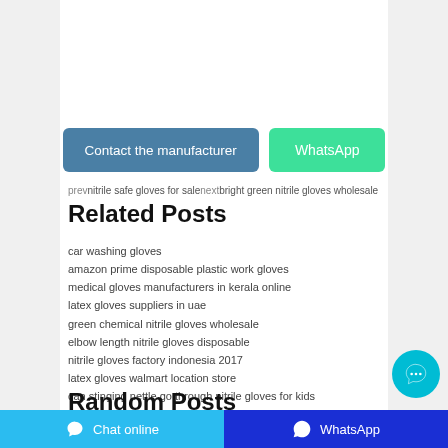[Figure (other): Contact the manufacturer button (blue) and WhatsApp button (green)]
prev nitrile safe gloves for sale next bright green nitrile gloves wholesale
Related Posts
car washing gloves
amazon prime disposable plastic work gloves
medical gloves manufacturers in kerala online
latex gloves suppliers in uae
green chemical nitrile gloves wholesale
elbow length nitrile gloves disposable
nitrile gloves factory indonesia 2017
latex gloves walmart location store
can stinging nettle go through nitrile gloves for kids
clean ones 500 count disposable poly gloves for food handling
Random Posts
Chat online | WhatsApp